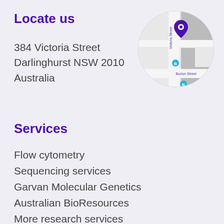Locate us
384 Victoria Street
Darlinghurst NSW 2010
Australia
[Figure (map): A circular map thumbnail showing the location near Victoria Street and Burton Street, with a purple map pin marker and two small circular blue icons indicating nearby points of interest.]
Services
Flow cytometry
Sequencing services
Garvan Molecular Genetics
Australian BioResources
More research services
Research centres